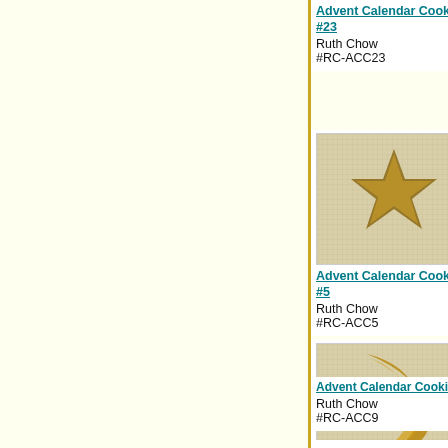[Figure (photo): Needlepoint canvas showing Advent Calendar Cookie #23 - star shape]
Advent Calendar Cookie #23
Ruth Chow
#RC-ACC23
[Figure (photo): Needlepoint canvas showing Advent Calendar Cookie #24 - ornament/cherry design]
Advent Calendar Cookie #24
Ruth Chow
#RC-ACC24
[Figure (photo): Needlepoint canvas showing Advent Calendar Cookie #3 - partial view]
Advent Calendar Cookie #3
Ruth Chow
#RC-AC...
[Figure (photo): Needlepoint canvas showing Advent Calendar Cookie #5 - star shape]
Advent Calendar Cookie #5
Ruth Chow
#RC-ACC5
[Figure (photo): Needlepoint canvas showing Advent Calendar Cookie #6 - candy cane/holly]
Advent Calendar Cookie
Ruth Chow
#RC-ACC6
[Figure (photo): Needlepoint canvas showing Advent Calendar Cookie - partial view]
Advent Calendar Cookie...
Ruth Ch...
#RC-AC...
[Figure (photo): Needlepoint canvas showing Advent Calendar Cookie #9 - crescent/moon shape]
Advent Calendar Cookie#9
Ruth Chow
#RC-ACC9
[Figure (photo): Photo of Gingerbread Man needlepoint - colorful gingerbread man with blue pants]
Gingerbread Man
Ruth Chow
#RC-CGBM
[Figure (photo): Photo of Gingerbread Cookie needlepoint - colorful gingerbread figure]
Gingerb...
Ruth Ch...
#RC-CC...
[Figure (photo): Partial view of needlepoint at bottom - Cookie #]
[Figure (photo): Partial view of needlepoint at bottom right]